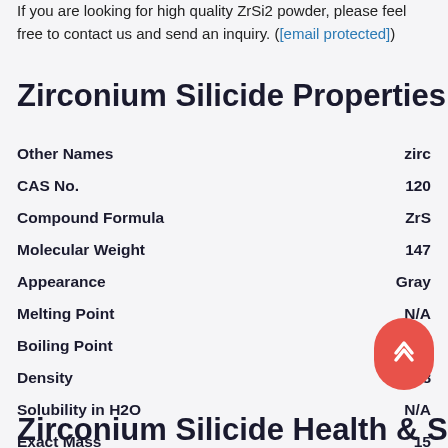If you are looking for high quality ZrSi2 powder, please feel free to contact us and send an inquiry. ([email protected])
Zirconium Silicide Properties
| Property | Value |
| --- | --- |
| Other Names | zirc... |
| CAS No. | 120... |
| Compound Formula | ZrS... |
| Molecular Weight | 147... |
| Appearance | Gray... |
| Melting Point | N/A... |
| Boiling Point | N/A... |
| Density | 4.88... |
| Solubility in H2O | N/A... |
| Exact Mass | ...15... |
Zirconium Silicide Health & S...